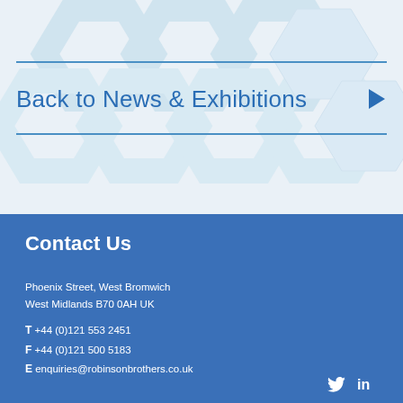[Figure (illustration): Light blue hexagonal pattern background in the top section of the page]
Back to News & Exhibitions
Contact Us
Phoenix Street, West Bromwich
West Midlands B70 0AH UK
T +44 (0)121 553 2451
F +44 (0)121 500 5183
E enquiries@robinsonbrothers.co.uk
[Figure (logo): Twitter and LinkedIn social media icons in white]